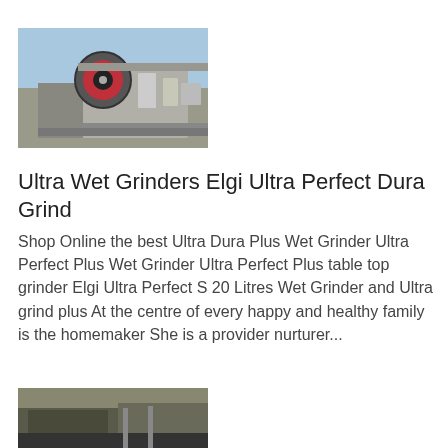[Figure (photo): Industrial grinding machine, front view showing large circular disc mechanism, gray concrete-like structure, industrial setting]
Ultra Wet Grinders Elgi Ultra Perfect Dura Grind
Shop Online the best Ultra Dura Plus Wet Grinder Ultra Perfect Plus Wet Grinder Ultra Perfect Plus table top grinder Elgi Ultra Perfect S 20 Litres Wet Grinder and Ultra grind plus At the centre of every happy and healthy family is the homemaker She is a provider nurturer...
Know More
[Figure (photo): Industrial facility or building exterior, partially visible at bottom of page]